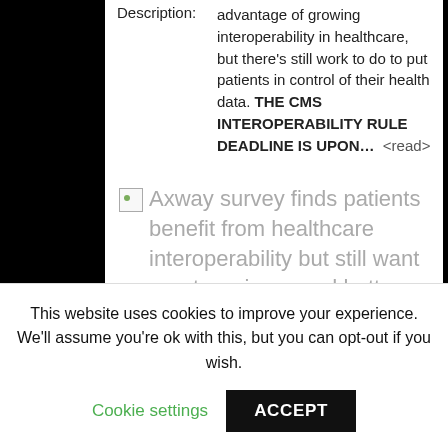Description: advantage of growing interoperability in healthcare, but there's still work to do to put patients in control of their health data. THE CMS INTEROPERABILITY RULE DEADLINE IS UPON... <read>
[Figure (illustration): Broken image placeholder icon followed by article title text: Axway survey finds patients benefit from healthcare interoperability but still want greater privacy and better ownership of their records]
This website uses cookies to improve your experience. We'll assume you're ok with this, but you can opt-out if you wish.
Cookie settings    ACCEPT